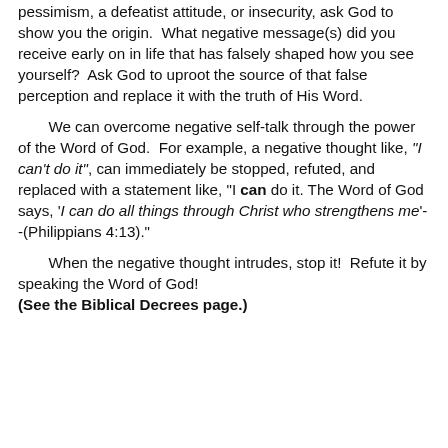pessimism, a defeatist attitude, or insecurity, ask God to show you the origin. What negative message(s) did you receive early on in life that has falsely shaped how you see yourself? Ask God to uproot the source of that false perception and replace it with the truth of His Word.
We can overcome negative self-talk through the power of the Word of God. For example, a negative thought like, "I can't do it", can immediately be stopped, refuted, and replaced with a statement like, "I can do it. The Word of God says, 'I can do all things through Christ who strengthens me'--(Philippians 4:13)."
When the negative thought intrudes, stop it! Refute it by speaking the Word of God! (See the Biblical Decrees page.)